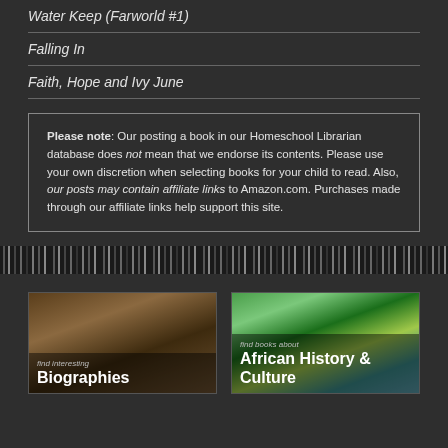Water Keep (Farworld #1)
Falling In
Faith, Hope and Ivy June
Please note: Our posting a book in our Homeschool Librarian database does not mean that we endorse its contents. Please use your own discretion when selecting books for your child to read. Also, our posts may contain affiliate links to Amazon.com. Purchases made through our affiliate links help support this site.
[Figure (photo): Barcode strip / decorative barcode band across full width]
[Figure (photo): Card showing stacked old books with text 'find interesting Biographies']
[Figure (photo): Card showing map of Africa with text 'find books about African History & Culture']